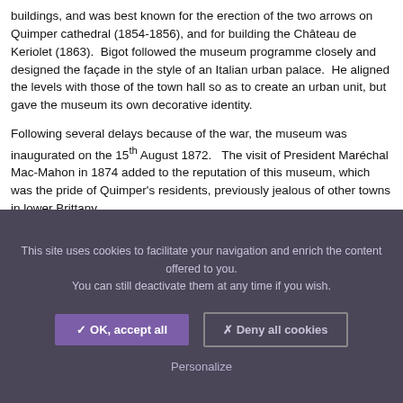buildings, and was best known for the erection of the two arrows on Quimper cathedral (1854-1856), and for building the Château de Keriolet (1863). Bigot followed the museum programme closely and designed the façade in the style of an Italian urban palace. He aligned the levels with those of the town hall so as to create an urban unit, but gave the museum its own decorative identity.
Following several delays because of the war, the museum was inaugurated on the 15th August 1872. The visit of President Maréchal Mac-Mahon in 1874 added to the reputation of this museum, which was the pride of Quimper's residents, previously jealous of other towns in lower Brittany.
This site uses cookies to facilitate your navigation and enrich the content offered to you. You can still deactivate them at any time if you wish.
✓ OK, accept all
✗ Deny all cookies
Personalize